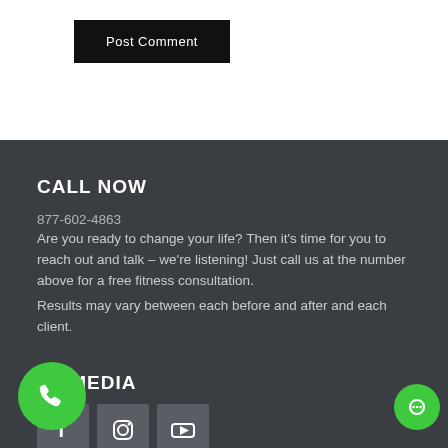Post Comment
CALL NOW
877-602-4863
Are you ready to change your life? Then it's time for you to reach out and talk – we're listening! Just call us at the number above for a free fitness consultation.
Results may vary between each before and after and each client.
AL MEDIA
[Figure (illustration): Social media icons: Facebook, Instagram, YouTube]
[Figure (illustration): Green phone call button (circle) bottom left]
[Figure (illustration): Green chat button (circle) bottom right]